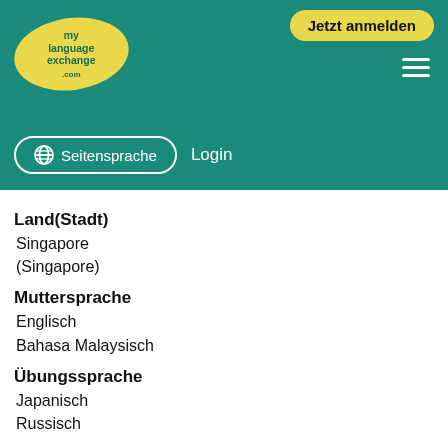[Figure (screenshot): MyLanguageExchange.com website header with teal background, yellow oval logo, 'Jetzt anmelden' yellow button, hamburger menu, globe Seitensprache button, and Login link]
Land(Stadt)
Singapore
(Singapore)
Muttersprache
Englisch
Bahasa Malaysisch
Übungssprache
Japanisch
Russisch
Beschreibung
Hello everyone, I am interested in learning the respective languages mentioned above. I am keen in doing weekly video sessions to improve speaking and communication. Only serious language partners, strictly to learn